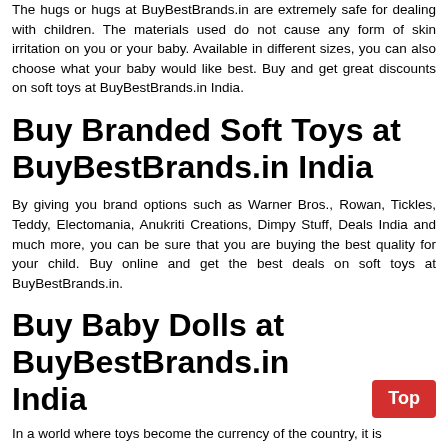The hugs or hugs at BuyBestBrands.in are extremely safe for dealing with children. The materials used do not cause any form of skin irritation on you or your baby. Available in different sizes, you can also choose what your baby would like best. Buy and get great discounts on soft toys at BuyBestBrands.in India.
Buy Branded Soft Toys at BuyBestBrands.in India
By giving you brand options such as Warner Bros., Rowan, Tickles, Teddy, Electomania, Anukriti Creations, Dimpy Stuff, Deals India and much more, you can be sure that you are buying the best quality for your child. Buy online and get the best deals on soft toys at BuyBestBrands.in.
Buy Baby Dolls at BuyBestBrands.in India
In a world where toys become the currency of the country, it is